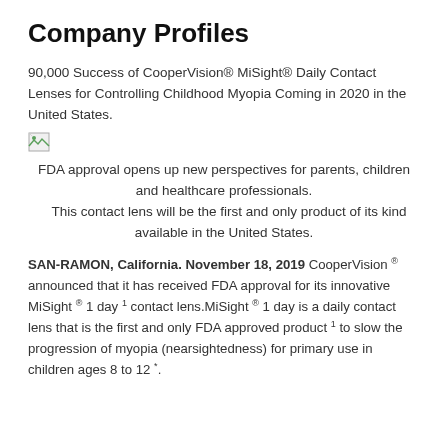Company Profiles
90,000 Success of CooperVision® MiSight® Daily Contact Lenses for Controlling Childhood Myopia Coming in 2020 in the United States.
[Figure (other): Broken/missing image placeholder icon]
FDA approval opens up new perspectives for parents, children and healthcare professionals.
This contact lens will be the first and only product of its kind available in the United States.
SAN-RAMON, California. November 18, 2019 CooperVision ® announced that it has received FDA approval for its innovative MiSight ® 1 day 1 contact lens.MiSight ® 1 day is a daily contact lens that is the first and only FDA approved product 1 to slow the progression of myopia (nearsightedness) for primary use in children ages 8 to 12 *.